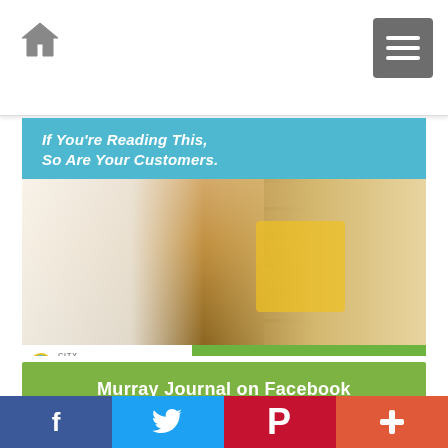Navigation bar with home icon and menu button
[Figure (illustration): Advertisement banner for City Journals. Top section has blue background with white italic bold text: 'If You're Reading This, So Are Your Customers.' Middle section shows a bakery scene with a smiling blonde woman in yellow handing bread to a customer. Bottom section has white City Journals logo on left and green bar with text 'Click here for ways to build your business.' on right.]
Murray Journal on Facebook
Social sharing bar with Facebook, Twitter, Pinterest, and More buttons